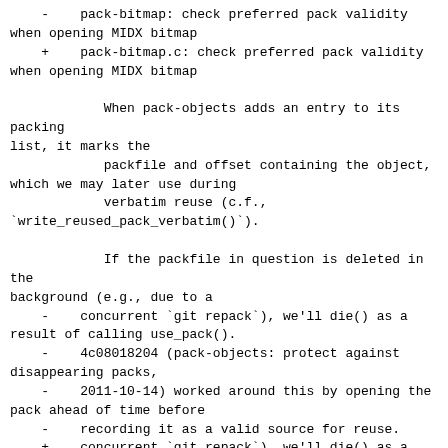-    pack-bitmap: check preferred pack validity when opening MIDX bitmap
    +    pack-bitmap.c: check preferred pack validity when opening MIDX bitmap

            When pack-objects adds an entry to its packing list, it marks the
            packfile and offset containing the object, which we may later use during
            verbatim reuse (c.f.,
`write_reused_pack_verbatim()`).

            If the packfile in question is deleted in the background (e.g., due to a
    -    concurrent `git repack`), we'll die() as a result of calling use_pack().
    -    4c08018204 (pack-objects: protect against disappearing packs,
    -    2011-10-14) worked around this by opening the pack ahead of time before
    -    recording it as a valid source for reuse.
    +    concurrent `git repack`), we'll die() as a result of calling use_pack(),
    +    unless we have an open file descriptor on the pack itself. 4c08018204
    +    (pack-objects: protect against disappearing packs, 2011-10-14) worked
    +    around this by opening the pack ahead of time before recording it as a
    +    valid source for reuse.